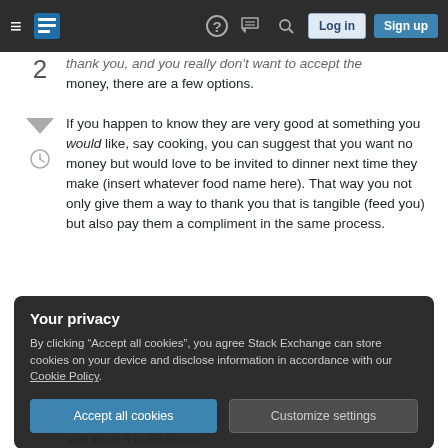Stack Exchange navigation bar with logo, help, chat, search icons, Log in and Sign up buttons
thank you, and you really don't want to accept the money, there are a few options.
If you happen to know they are very good at something you would like, say cooking, you can suggest that you want no money but would love to be invited to dinner next time they make (insert whatever food name here). That way you not only give them a way to thank you that is tangible (feed you) but also pay them a compliment in the same process.
Your privacy
By clicking "Accept all cookies", you agree Stack Exchange can store cookies on your device and disclose information in accordance with our Cookie Policy.
Accept all cookies   Customize settings
see what it is all about.